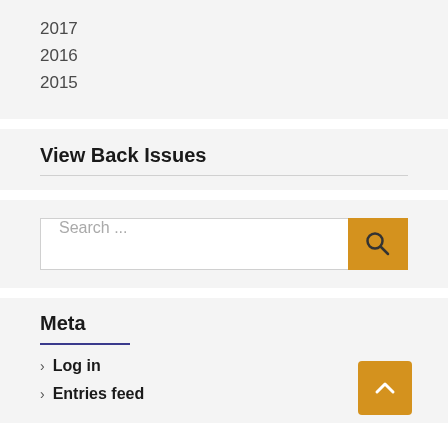2017
2016
2015
View Back Issues
[Figure (other): Search bar with text input field showing placeholder 'Search ...' and an orange/gold search button with magnifying glass icon]
Meta
Log in
Entries feed